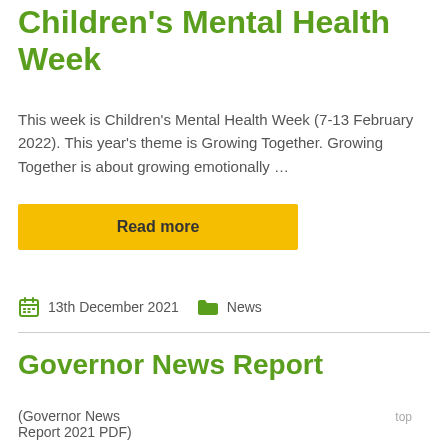Children's Mental Health Week
This week is Children's Mental Health Week (7-13 February 2022). This year's theme is Growing Together. Growing Together is about growing emotionally …
Read more
13th December 2021   News
Governor News Report
(Governor News Report 2021 PDF)